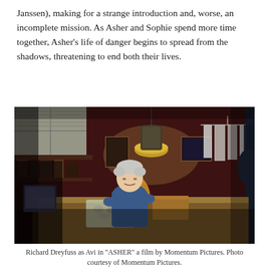Janssen), making for a strange introduction and, worse, an incomplete mission. As Asher and Sophie spend more time together, Asher's life of danger begins to spread from the shadows, threatening to end both their lives.
[Figure (photo): A man (Richard Dreyfuss as Avi) sits at a workbench in a dimly lit tailor shop, holding yellow fabric. A hanging lamp illuminates the scene. Clothing racks and shelves visible in background.]
Richard Dreyfuss as Avi in "ASHER" a film by Momentum Pictures. Photo courtesy of Momentum Pictures.